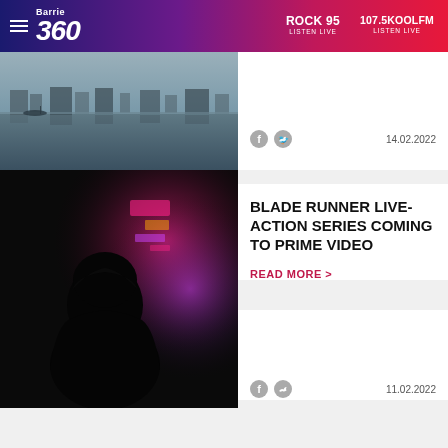Barrie 360 — ROCK 95 LISTEN LIVE — 107.5KOOLFM LISTEN LIVE
[Figure (photo): Waterfront scene with boats and reflections on water, muted tones]
14.02.2022
[Figure (photo): Dark silhouette of a person against colorful neon lights background]
BLADE RUNNER LIVE-ACTION SERIES COMING TO PRIME VIDEO
READ MORE >
11.02.2022